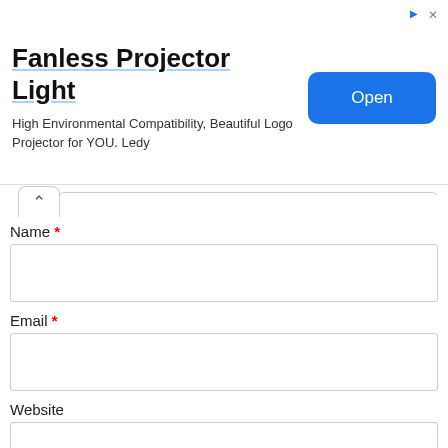[Figure (screenshot): Advertisement banner for Fanless Projector Light with an Open button]
Fanless Projector Light
High Environmental Compatibility, Beautiful Logo Projector for YOU. Ledy
Name *
Email *
Website
Save my name, email, and website in this browser for the next time I comment.
Post Comment